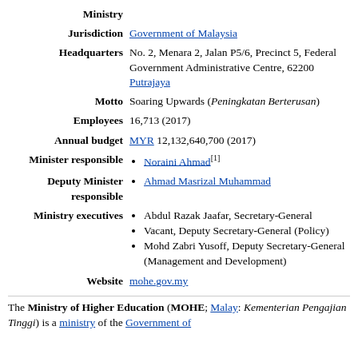| Field | Value |
| --- | --- |
| Ministry |  |
| Jurisdiction | Government of Malaysia |
| Headquarters | No. 2, Menara 2, Jalan P5/6, Precinct 5, Federal Government Administrative Centre, 62200 Putrajaya |
| Motto | Soaring Upwards (Peningkatan Berterusan) |
| Employees | 16,713 (2017) |
| Annual budget | MYR 12,132,640,700 (2017) |
| Minister responsible | Noraini Ahmad[1] |
| Deputy Minister responsible | Ahmad Masrizal Muhammad |
| Ministry executives | Abdul Razak Jaafar, Secretary-General; Vacant, Deputy Secretary-General (Policy); Mohd Zabri Yusoff, Deputy Secretary-General (Management and Development) |
| Website | mohe.gov.my |
The Ministry of Higher Education (MOHE; Malay: Kementerian Pengajian Tinggi) is a ministry of the Government of